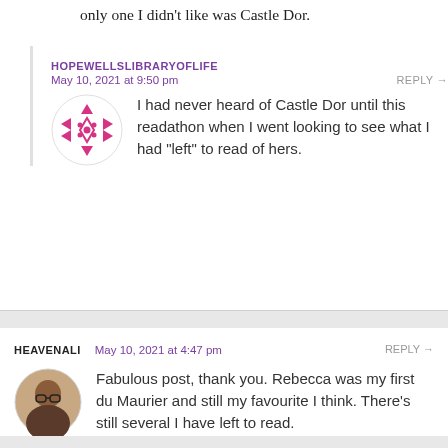only one I didn't like was Castle Dor.
HOPEWELLSLIBRARYOFLIFE
May 10, 2021 at 9:50 pm
REPLY →
[Figure (logo): Pink decorative geometric avatar icon with diamond and triangle shapes]
I had never heard of Castle Dor until this readathon when I went looking to see what I had “left” to read of hers.
HEAVENALI
May 10, 2021 at 4:47 pm
REPLY →
[Figure (photo): Circular profile photo of a person with glasses]
Fabulous post, thank you. Rebecca was my first du Maurier and still my favourite I think. There’s still several I have left to read.